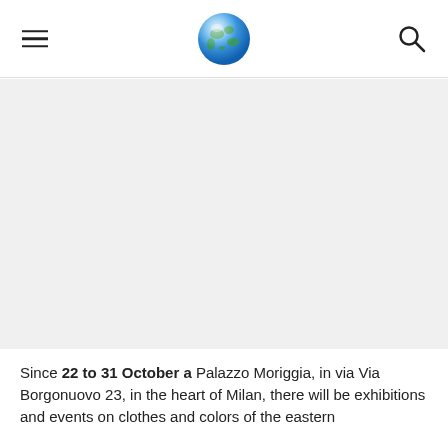[hamburger menu] [globe logo] [search icon]
[Figure (photo): Large image area (appears blank/white in the visible portion) taking up the middle section of the page]
Since 22 to 31 October a Palazzo Moriggia, in via Via Borgonuovo 23, in the heart of Milan, there will be exhibitions and events on clothes and colors of the eastern